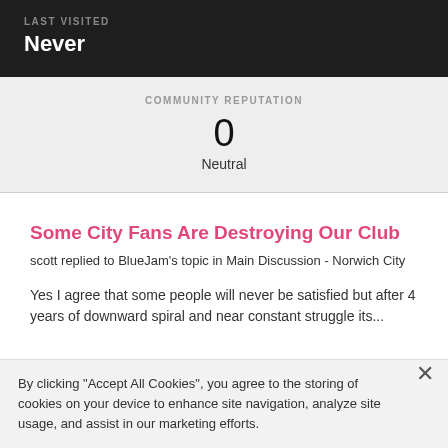LAST VISITED
Never
COMMUNITY REPUTATION
0
Neutral
Some City Fans Are Destroying Our Club
scott replied to BlueJam's topic in Main Discussion - Norwich City
Yes I agree that some people will never be satisfied but after 4 years of downward spiral and near constant struggle its...
By clicking “Accept All Cookies”, you agree to the storing of cookies on your device to enhance site navigation, analyze site usage, and assist in our marketing efforts.